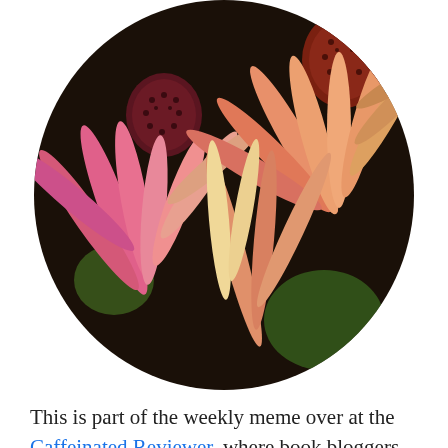[Figure (photo): A circular cropped photo of pink and orange coneflowers (Echinacea) with dark centers, photographed close-up against a dark background with hints of green.]
This is part of the weekly meme over at the Caffeinated Reviewer, where book bloggers can share the books and blogs they have written.
It's been a quiet week. I had a minor sniffle and sore throat. Nothing remotely COVID, but it still seems very anti-social to start spreading